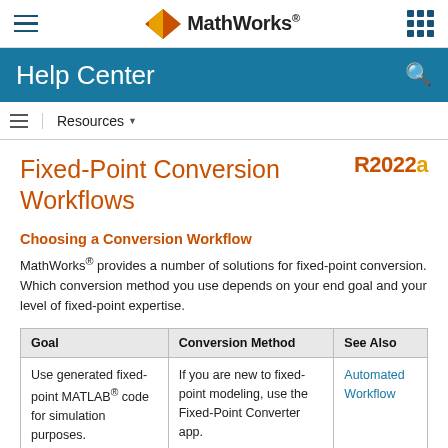MathWorks Help Center
Fixed-Point Conversion Workflows
Choosing a Conversion Workflow
MathWorks® provides a number of solutions for fixed-point conversion. Which conversion method you use depends on your end goal and your level of fixed-point expertise.
| Goal | Conversion Method | See Also |
| --- | --- | --- |
| Use generated fixed-point MATLAB® code for simulation purposes. | If you are new to fixed-point modeling, use the Fixed-Point Converter app. | Automated Workflow |